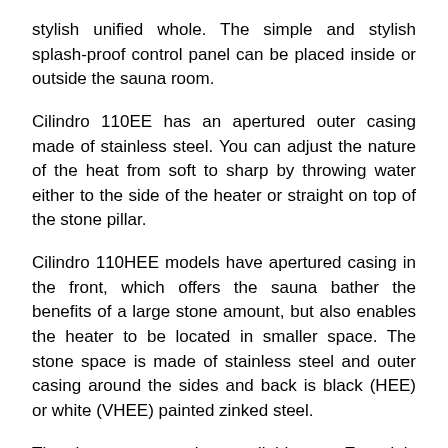stylish unified whole. The simple and stylish splash-proof control panel can be placed inside or outside the sauna room.
Cilindro 110EE has an apertured outer casing made of stainless steel. You can adjust the nature of the heat from soft to sharp by throwing water either to the side of the heater or straight on top of the stone pillar.
Cilindro 110HEE models have apertured casing in the front, which offers the sauna bather the benefits of a large stone amount, but also enables the heater to be located in smaller space. The stone space is made of stainless steel and outer casing around the sides and back is black (HEE) or white (VHEE) painted zinked steel.
The heaters are also available as E-models PC110E, PC110HE and PC110VHE which are controlled with a